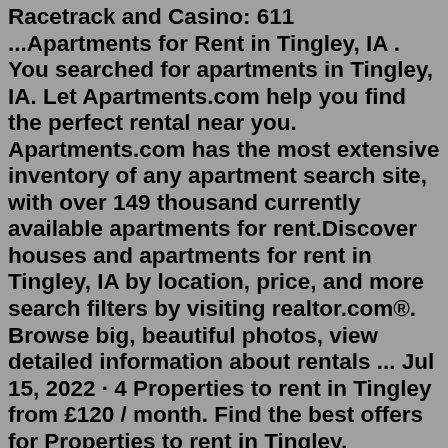Racetrack and Casino: 611 ...Apartments for Rent in Tingley, IA . You searched for apartments in Tingley, IA. Let Apartments.com help you find the perfect rental near you. Apartments.com has the most extensive inventory of any apartment search site, with over 149 thousand currently available apartments for rent.Discover houses and apartments for rent in Tingley, IA by location, price, and more search filters by visiting realtor.com®. Browse big, beautiful photos, view detailed information about rentals ... Jul 15, 2022 · 4 Properties to rent in Tingley from £120 / month. Find the best offers for Properties to rent in Tingley. Spacious three bedroom detached family home to rent in the sought after area of tingley. 3 bedrooms detached house for rent in heathfield close, tingley, wakefield. 2 bedrooms terraced house f Find a flatshare or flatmate fast! 1000s of rooms for rent in flatshares across London, Manchester, Birmingham, Bristol, Leeds, Edinburgh, Glasgow and the rest of the UK. Advertise for free! ... Tingley (WF3) Double room | Available Now Mon - Fri let. £445 pcm Bills